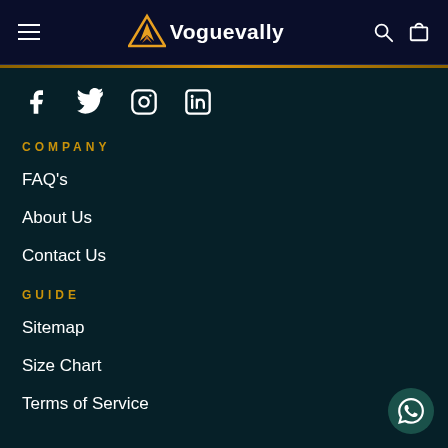Voguevally navigation header with hamburger menu, logo, search and cart icons
[Figure (logo): Voguevally logo with triangular star icon in orange/gold and white text]
[Figure (infographic): Social media icons: Facebook, Twitter, Instagram, LinkedIn]
COMPANY
FAQ's
About Us
Contact Us
GUIDE
Sitemap
Size Chart
Terms of Service